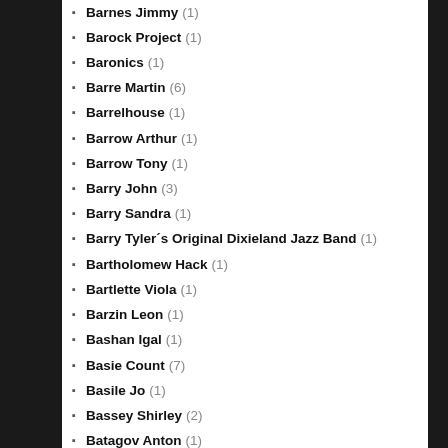Barnes Jimmy (1)
Barock Project (1)
Baronics (1)
Barre Martin (6)
Barrelhouse (1)
Barrow Arthur (1)
Barrow Tony (1)
Barry John (3)
Barry Sandra (1)
Barry Tyler´s Original Dixieland Jazz Band (1)
Bartholomew Hack (1)
Bartlette Viola (1)
Barzin Leon (1)
Bashan Igal (1)
Basie Count (7)
Basile Jo (1)
Bassey Shirley (2)
Batagov Anton (1)
Batalion d'Amour (1)
Bateiras Alexandre (1)
Baumann Agneta (1)
Bavouzet Jean-Efflam (1)